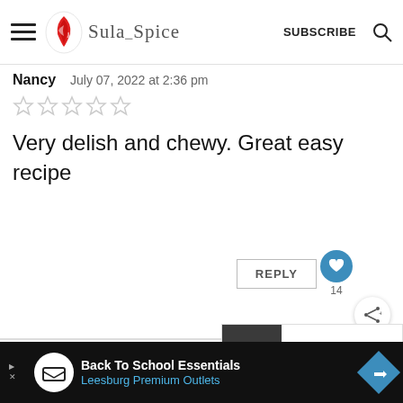Sula and Spice — SUBSCRIBE
Nancy   July 07, 2022 at 2:36 pm
[Figure (other): 5 empty/unfilled star rating icons]
Very delish and chewy. Great easy recipe
REPLY  ♥ 14
Sula   July 08, 2022 at 11:01 am
[Figure (other): WHAT'S NEXT thumbnail — Chicken Legs on the Grill]
Back To School Essentials
Leesburg Premium Outlets